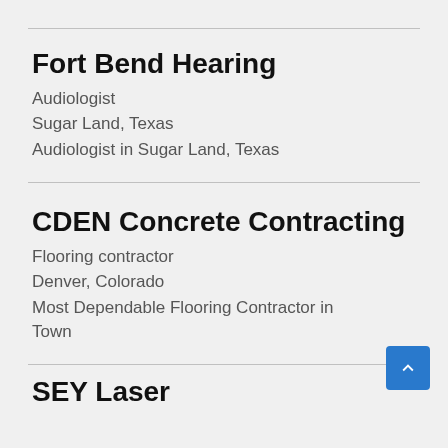Fort Bend Hearing
Audiologist
Sugar Land, Texas
Audiologist in Sugar Land, Texas
CDEN Concrete Contracting
Flooring contractor
Denver, Colorado
Most Dependable Flooring Contractor in Town
SEY Laser